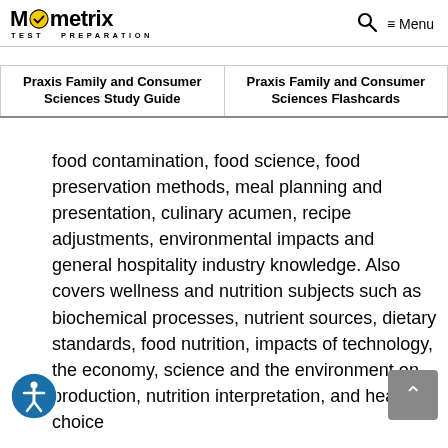Mometrix TEST PREPARATION | Search | Menu
| Praxis Family and Consumer Sciences Study Guide | Praxis Family and Consumer Sciences Flashcards |
| --- | --- |
food contamination, food science, food preservation methods, meal planning and presentation, culinary acumen, recipe adjustments, environmental impacts and general hospitality industry knowledge. Also covers wellness and nutrition subjects such as biochemical processes, nutrient sources, dietary standards, food nutrition, impacts of technology, the economy, science and the environment on production, nutrition interpretation, and healthy choice